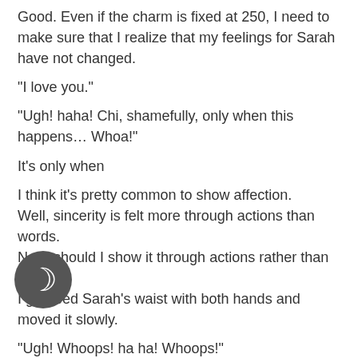Good. Even if the charm is fixed at 250, I need to make sure that I realize that my feelings for Sarah have not changed.
“I love you.”
“Ugh! haha! Chi, shamefully, only when this happens… Whoa!”
It’s only when
I think it’s pretty common to show affection.
Well, sincerity is felt more through actions than words.
Now, should I show it through actions rather than words?
I grabbed Sarah’s waist with both hands and moved it slowly.
“Ugh! Whoops! ha ha! Whoops!”
Then Sarah’s waist was bent, and her upper body floated ab…e trestle.
Sara is impressive with the line from her slender waist to her well-developed pelvis.
[Figure (illustration): Dark circular icon with a crescent moon symbol, overlaid on the bottom-left of the text content.]